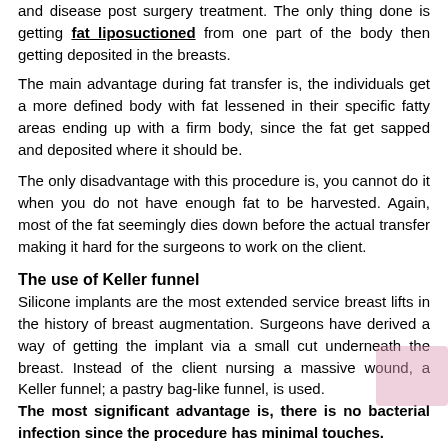and disease post-surgery treatment. The only thing done is getting fat liposuctioned from one part of the body then getting deposited in the breasts.
The main advantage during fat transfer is, the individuals get a more defined body with fat lessened in their specific fatty areas ending up with a firm body, since the fat get sapped and deposited where it should be.
The only disadvantage with this procedure is, you cannot do it when you do not have enough fat to be harvested. Again, most of the fat seemingly dies down before the actual transfer making it hard for the surgeons to work on the client.
The use of Keller funnel
Silicone implants are the most extended service breast lifts in the history of breast augmentation. Surgeons have derived a way of getting the implant via a small cut underneath the breast. Instead of the client nursing a massive wound, a Keller funnel; a pastry bag-like funnel, is used. The most significant advantage is, there is no bacterial infection since the procedure has minimal touches.
Aging, breastfeeding, and heredity are some of the reasons that get most women checking themselves in a cosmetics clinic to help enhance the look of their either sagging boobs or small